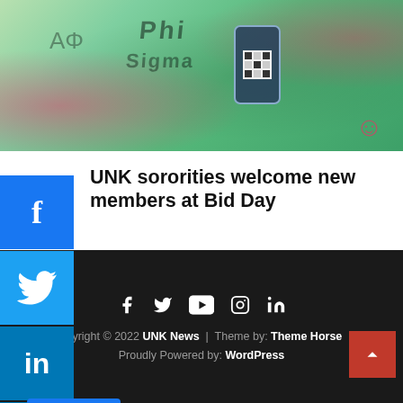[Figure (photo): People wearing green and pink t-shirts at a sorority event; one person holds a phone with QR code]
UNK sororities welcome new members at Bid Day
August 18, 2022 / Erika Pritchard
[Figure (screenshot): Social media share buttons: Facebook, Twitter, LinkedIn, Pinterest sidebar buttons and a Facebook Like button showing 68 likes]
[Figure (infographic): Dark grey content area / advertisement block]
Copyright © 2022 UNK News | Theme by: Theme Horse | Proudly Powered by: WordPress